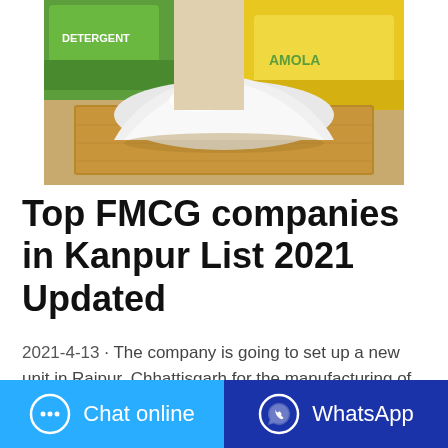[Figure (photo): Photo of a pile of white detergent powder on a wooden tray, with colorful FMCG product packaging (green and yellow) in the background, with text 'AMOLA' visible.]
Top FMCG companies in Kanpur List 2021 Updated
2021-4-13 · The company is going to set up a new unit in Raipur, Chhattisgarh for the manufacturing of detergent cake, powder and acid slurry. FMCG Division. HOUSEHOLD CARE & PERSONAL CARE PRODUCTS. Household Products. Ghadi Detergent Cake Ghadi Detergent Powder Xpert Dishwash Bar Uniwash
Chat online | WhatsApp